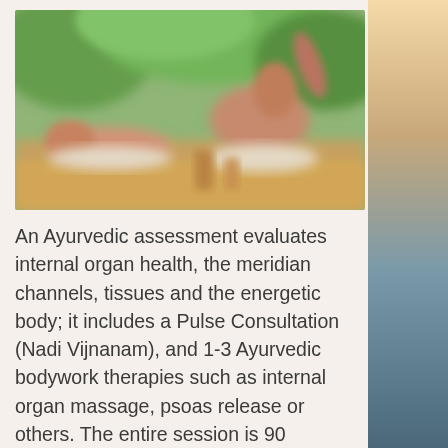[Figure (photo): Blurred photo of two people receiving massage therapy, lying on massage tables, with green tropical foliage visible in the background. Warm, spa-like setting.]
An Ayurvedic assessment evaluates internal organ health, the meridian channels, tissues and the energetic body; it includes a Pulse Consultation (Nadi Vijnanam), and 1-3 Ayurvedic bodywork therapies such as internal organ massage, psoas release or others. The entire session is 90